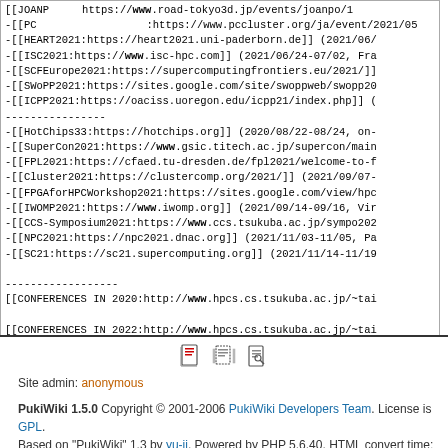[[JOANP...]] ...
-[[PC...]] ...
-[[HEART2021:https://heart2021.uni-paderborn.de]] (2021/06/...
-[[ISC2021:https://www.isc-hpc.com]] (2021/06/24-07/02, Fra
-[[SCFEurope2021:https://supercomputingfrontiers.eu/2021/]]
-[[SWoPP2021:https://sites.google.com/site/swoppweb/swopp20
-[[ICPP2021:https://oaciss.uoregon.edu/icpp21/index.php]] (
----------------
-[[HotChips33:https://hotchips.org]] (2020/08/22-08/24, on-
-[[SuperCon2021:https://www.gsic.titech.ac.jp/supercon/main
-[[FPL2021:https://cfaed.tu-dresden.de/fpl2021/welcome-to-f
-[[Cluster2021:https://clustercomp.org/2021/]] (2021/09/07-
-[[FPGAforHPCWorkshop2021:https://sites.google.com/view/hpc
-[[IWOMP2021:https://www.iwomp.org]] (2021/09/14-09/16, Vir
-[[CCS-Symposium2021:https://www.ccs.tsukuba.ac.jp/sympo202
-[[NPC2021:https://npc2021.dnac.org]] (2021/11/03-11/05, Pa
-[[SC21:https://sc21.supercomputing.org]] (2021/11/14-11/19

------------------
[[CONFERENCES IN 2020:http://www.hpcs.cs.tsukuba.ac.jp/~tai

[[CONFERENCES IN 2022:http://www.hpcs.cs.tsukuba.ac.jp/~tai
Site admin: anonymous
PukiWiki 1.5.0 Copyright © 2001-2006 PukiWiki Developers Team. License is GPL.
Based on "PukiWiki" 1.3 by yu-ji. Powered by PHP 5.6.40. HTML convert time: 0.017 sec.